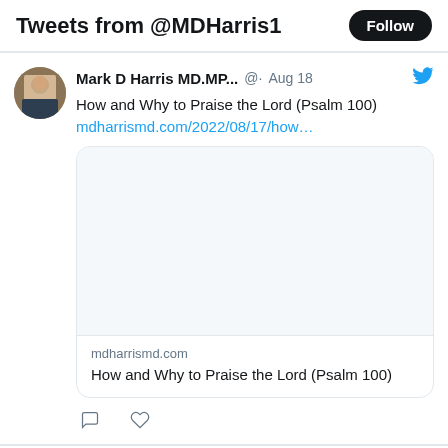Tweets from @MDHarris1
Mark D Harris MD.MP... · Aug 18
How and Why to Praise the Lord (Psalm 100)
mdharrismd.com/2022/08/17/how...
[Figure (screenshot): Empty preview image placeholder for blog post]
mdharrismd.com
How and Why to Praise the Lord (Psalm 100)
Mark D Harris MD.MP... · Aug 15